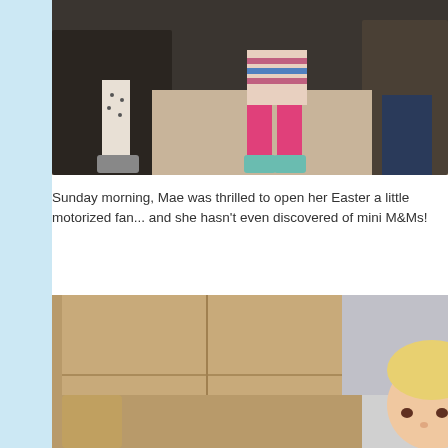[Figure (photo): Photo of children sitting on carpet floor, one child wearing pink leggings and teal socks, another child in leggings with sneakers visible]
Sunday morning, Mae was thrilled to open her Easter a little motorized fan... and she hasn't even discovered of mini M&Ms!
[Figure (photo): Photo of a toddler with blonde hair peeking over a tan/brown sofa armrest, wrapped in a gray blanket]